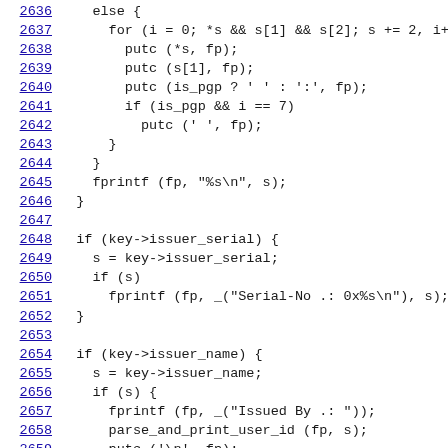Source code listing, lines 2636-2661, C programming language